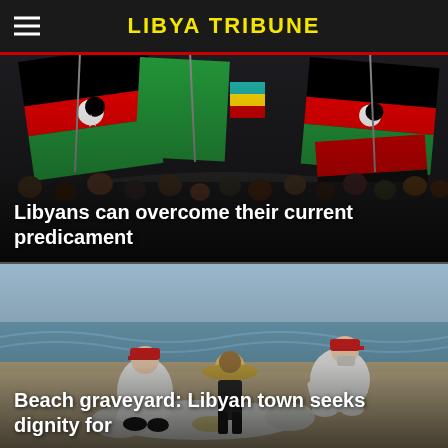LIBYA TRIBUNE
[Figure (photo): Crowd of people waving Libyan flags in black, red, and green with crescent and star, along with other national flags, at a public demonstration or rally.]
Libyans can overcome their current predicament
[Figure (photo): Workers in white protective suits and red caps on a sandy beach, recovering a body wrapped in a white sheet near the water's edge.]
Beach graveyard: Libyan town seeks dignity for